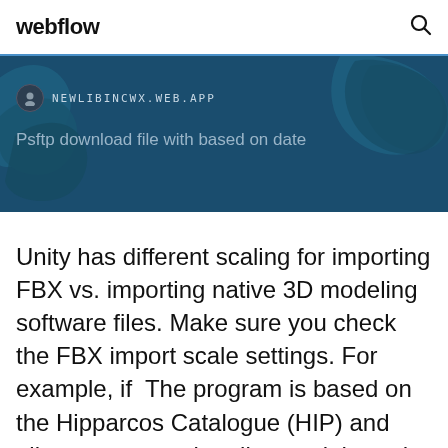webflow
[Figure (screenshot): Dark blue banner with map/geographic blob shapes in the background. Contains a URL label 'NEWLIBINCWX.WEB.APP' with a small avatar icon, and subtitle text 'Psftp download file with based on date']
Unity has different scaling for importing FBX vs. importing native 3D modeling software files. Make sure you check the FBX import scale settings. For example, if  The program is based on the Hipparcos Catalogue (HIP) and allows users to virtually travel through an